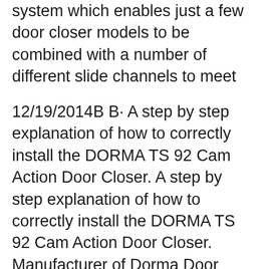system which enables just a few door closer models to be combined with a number of different slide channels to meet
12/19/2014B B· A step by step explanation of how to correctly install the DORMA TS 92 Cam Action Door Closer. A step by step explanation of how to correctly install the DORMA TS 92 Cam Action Door Closer. Manufacturer of Dorma Door Closers - TS-89 With Slide Channel, Door Closer TS-73V, Concealed Cam Action Door Closer ITS-96 and Palmet Arm Cam Action Door Closer Ts-93 offered by Mahayco Enterprises, New Delhi, Delhi.